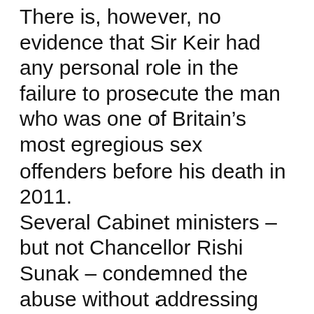There is, however, no evidence that Sir Keir had any personal role in the failure to prosecute the man who was one of Britain's most egregious sex offenders before his death in 2011.
Several Cabinet ministers – but not Chancellor Rishi Sunak – condemned the abuse without addressing allegations that Mr Johnson had helped whip it up.
The Prime Minister tweeted: “The behaviour directed at the Leader of the Opposition tonight is absolutely disgraceful. All forms of harassment of our elected representatives are completely unacceptable.”
Earlier in the day, Mr Johnson played down reports of a rift with the Chancellor, who is